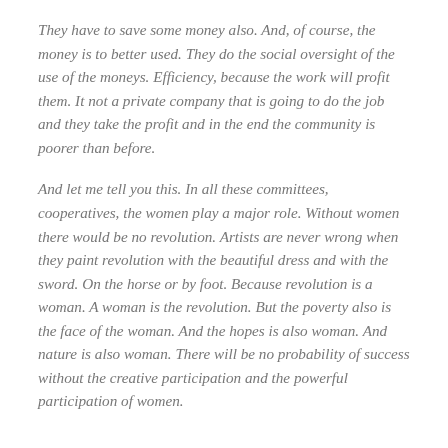They have to save some money also. And, of course, the money is to better used. They do the social oversight of the use of the moneys. Efficiency, because the work will profit them. It not a private company that is going to do the job and they take the profit and in the end the community is poorer than before.
And let me tell you this. In all these committees, cooperatives, the women play a major role. Without women there would be no revolution. Artists are never wrong when they paint revolution with the beautiful dress and with the sword. On the horse or by foot. Because revolution is a woman. A woman is the revolution. But the poverty also is the face of the woman. And the hopes is also woman. And nature is also woman. There will be no probability of success without the creative participation and the powerful participation of women.